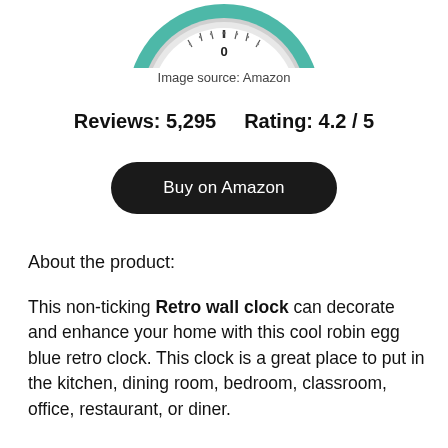[Figure (photo): Partial view of a teal/robin egg blue retro wall clock, showing the top portion of the clock face with the number 0 (top) and surrounding tick marks, with chrome bezel and teal casing.]
Image source: Amazon
Reviews: 5,295     Rating: 4.2 / 5
Buy on Amazon
About the product:
This non-ticking Retro wall clock can decorate and enhance your home with this cool robin egg blue retro clock. This clock is a great place to put in the kitchen, dining room, bedroom, classroom, office, restaurant, or diner.